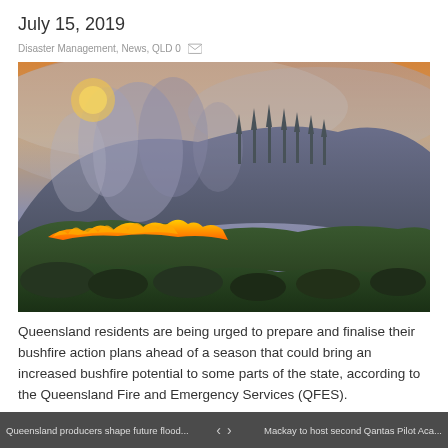July 15, 2019
Disaster Management, News, QLD 0
[Figure (photo): A bushfire burning along the base of a forested hillside, with orange flames consuming dry vegetation, heavy smoke rising against a purple-grey and orange sky at dusk or dawn.]
Queensland residents are being urged to prepare and finalise their bushfire action plans ahead of a season that could bring an increased bushfire potential to some parts of the state, according to the Queensland Fire and Emergency Services (QFES).
Queensland producers shape future flood...  <  >  Mackay to host second Qantas Pilot Aca...